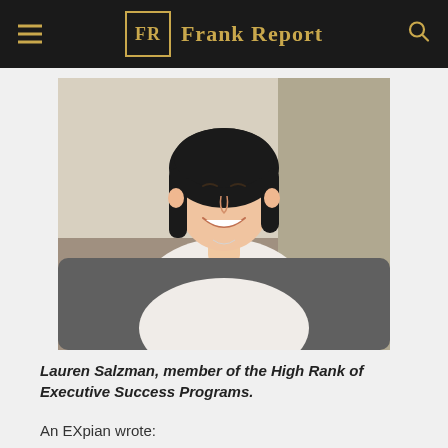FR Frank Report
[Figure (photo): Photo of Lauren Salzman, a woman with dark bob-cut hair, smiling, wearing a white sleeveless top, with a tattoo visible on her left arm.]
Lauren Salzman, member of the High Rank of Executive Success Programs.
An EXpian wrote: